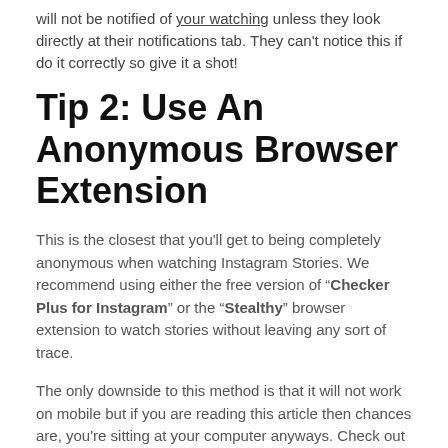will not be notified of your watching unless they look directly at their notifications tab. They can't notice this if do it correctly so give it a shot!
Tip 2: Use An Anonymous Browser Extension
This is the closest that you'll get to being completely anonymous when watching Instagram Stories. We recommend using either the free version of “Checker Plus for Instagram” or the “Stealthy” browser extension to watch stories without leaving any sort of trace.
The only downside to this method is that it will not work on mobile but if you are reading this article then chances are, you're sitting at your computer anyways. Check out our post about the best chrome extensions for Instagram here. All three are excellent choices so use whichever one suits